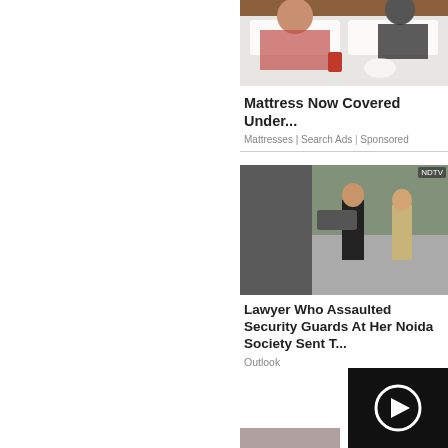[Figure (photo): Photo of two people leaning over a bed with a white mattress, taken from the foot of the bed. A wooden headboard is visible. A drink cup sits on the mattress.]
Mattress Now Covered Under...
Mattresses | Search Ads | Sponsored
[Figure (photo): Composite photo: left half is a solid dark gray rectangle, right half shows two people outdoors — a woman in black standing and a person in a law enforcement uniform. A small badge/logo is visible top right.]
Lawyer Who Assaulted Security Guards At Her Noida Society Sent T...
Outlook
[Figure (other): Black video player overlay with a circular play/loading icon in white.]
[Figure (photo): Partial bottom strip showing beginning of another article thumbnail.]